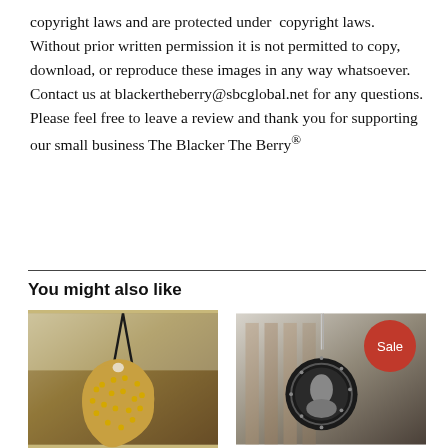copyright laws and are protected under copyright laws. Without prior written permission it is not permitted to copy, download, or reproduce these images in any way whatsoever. Contact us at blackertheberry@sbcglobal.net for any questions. Please feel free to leave a review and thank you for supporting our small business The Blacker The Berry®
You might also like
[Figure (photo): A wooden Africa map shaped pendant with gold dots hanging on a black cord necklace, photographed indoors.]
[Figure (photo): A circular black and silver pendant necklace on a silver chain, with a 'Sale' badge overlay in red.]